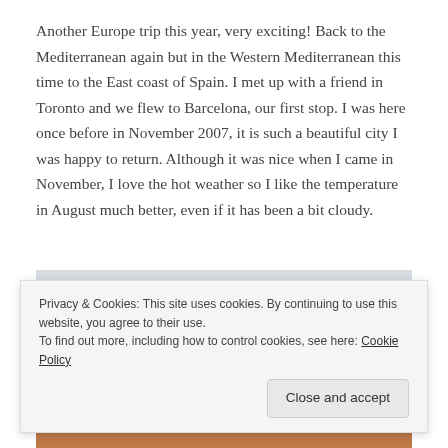Another Europe trip this year, very exciting! Back to the Mediterranean again but in the Western Mediterranean this time to the East coast of Spain. I met up with a friend in Toronto and we flew to Barcelona, our first stop. I was here once before in November 2007, it is such a beautiful city I was happy to return. Although it was nice when I came in November, I love the hot weather so I like the temperature in August much better, even if it has been a bit cloudy.
[Figure (photo): Partially visible photo of Barcelona cityscape, showing a cloudy grey sky at top and colourful building rooftops at bottom, partially obscured by a cookie consent banner.]
Privacy & Cookies: This site uses cookies. By continuing to use this website, you agree to their use.
To find out more, including how to control cookies, see here: Cookie Policy
Close and accept